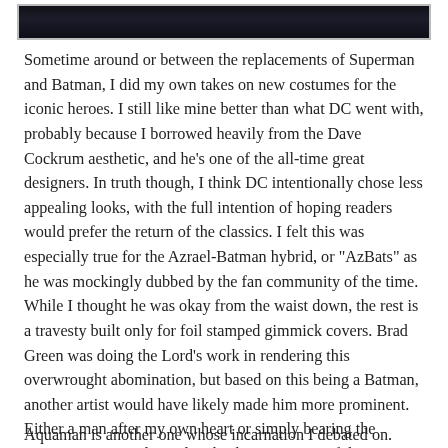[Figure (photo): Dark image strip at top of page showing silhouetted figures]
Sometime around or between the replacements of Superman and Batman, I did my own takes on new costumes for the iconic heroes. I still like mine better than what DC went with, probably because I borrowed heavily from the Dave Cockrum aesthetic, and he's one of the all-time great designers. In truth though, I think DC intentionally chose less appealing looks, with the full intention of hoping readers would prefer the return of the classics. I felt this was especially true for the Azrael-Batman hybrid, or "AzBats" as he was mockingly dubbed by the fan community of the time. While I thought he was okay from the waist down, the rest is a travesty built only for foil stamped gimmick covers. Brad Green was doing the Lord's work in rendering this overwrought abomination, but based on this being a Batman, another artist would have likely made him more prominent. Either a man after my own heart or simply bearing the common sense to downplay this beast, I'm grateful Green consigned all those scallops and points to the off-sides.
Aquaman is another one whose incarnation I debated on.